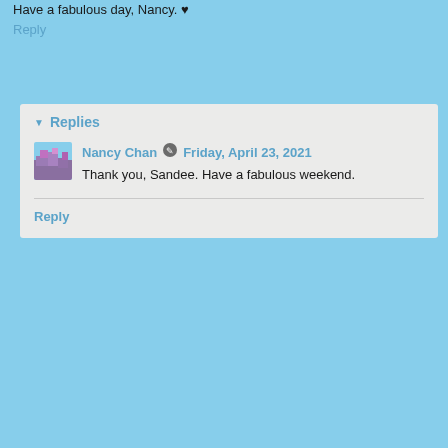Have a fabulous day, Nancy. ♥
Reply
Replies
Nancy Chan  Friday, April 23, 2021
Thank you, Sandee. Have a fabulous weekend.
Reply